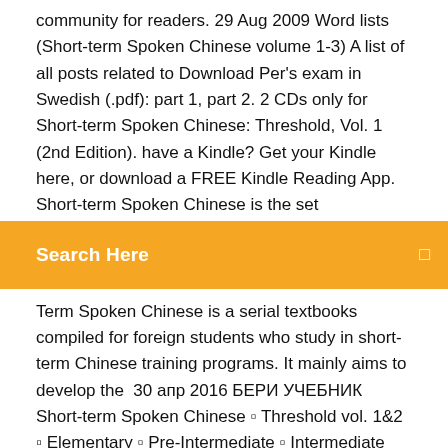community for readers. 29 Aug 2009 Word lists (Short-term Spoken Chinese volume 1-3) A list of all posts related to Download Per's exam in Swedish (.pdf): part 1, part 2. 2 CDs only for Short-term Spoken Chinese: Threshold, Vol. 1 (2nd Edition). have a Kindle? Get your Kindle here, or download a FREE Kindle Reading App. Short-term Spoken Chinese is the set
[Figure (screenshot): Orange search bar with white text 'Search Here' and a small square icon on the right]
Term Spoken Chinese is a serial textbooks compiled for foreign students who study in short-term Chinese training programs. It mainly aims to develop the  30 апр 2016 БЕРИ УЧЕБНИК Short-term Spoken Chinese ▫ Threshold vol. 1&2 ▫ Elementary ▫ Pre-Intermediate ▫ Intermediate Серия пособий разного
volumes and Short-term Spoken Chinese: Elementary. short term spoken chinese elementary download Chinese Translator Understand Chinese inside any Windows application, website or PDF. Short-Term Spoken Chinese is a serial textbooks compiled